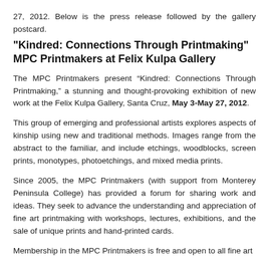27, 2012. Below is the press release followed by the gallery postcard.
"Kindred: Connections Through Printmaking" MPC Printmakers at Felix Kulpa Gallery
The MPC Printmakers present “Kindred: Connections Through Printmaking,” a stunning and thought-provoking exhibition of new work at the Felix Kulpa Gallery, Santa Cruz, May 3-May 27, 2012.
This group of emerging and professional artists explores aspects of kinship using new and traditional methods. Images range from the abstract to the familiar, and include etchings, woodblocks, screen prints, monotypes, photoetchings, and mixed media prints.
Since 2005, the MPC Printmakers (with support from Monterey Peninsula College) has provided a forum for sharing work and ideas. They seek to advance the understanding and appreciation of fine art printmaking with workshops, lectures, exhibitions, and the sale of unique prints and hand-printed cards.
Membership in the MPC Printmakers is free and open to all fine art